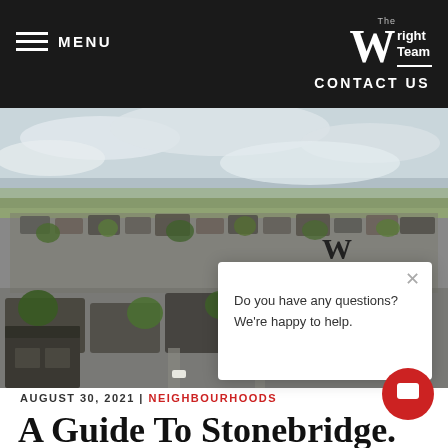MENU | The Wright Team | CONTACT US
[Figure (photo): Aerial drone photograph of Stonebridge neighbourhood showing residential homes, streets, and green spaces under a cloudy sky]
Do you have any questions? We're happy to help.
AUGUST 30, 2021 | NEIGHBOURHOODS
A Guide To Stonebridge.